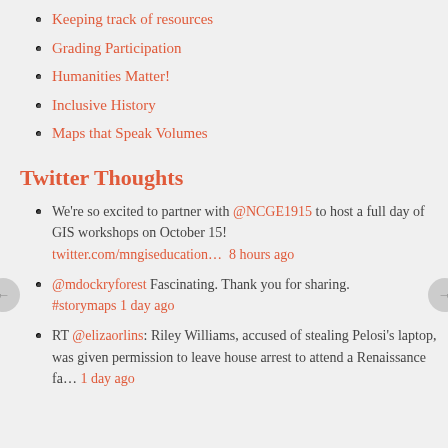Keeping track of resources
Grading Participation
Humanities Matter!
Inclusive History
Maps that Speak Volumes
Twitter Thoughts
We're so excited to partner with @NCGE1915 to host a full day of GIS workshops on October 15! twitter.com/mngiseducation… 8 hours ago
@mdockryforest Fascinating. Thank you for sharing. #storymaps 1 day ago
RT @elizaorlins: Riley Williams, accused of stealing Pelosi's laptop, was given permission to leave house arrest to attend a Renaissance fa… 1 day ago